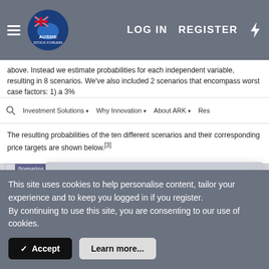LOG IN   REGISTER
above. Instead we estimate probabilities for each independent variable, resulting in 8 scenarios. We've also included 2 scenarios that encompass worst case factors: 1) a 3%
[Figure (screenshot): Navigation bar with search icon, Investment Solutions, Why Innovation, About ARK, Res dropdowns]
The resulting probabilities of the ten different scenarios and their corresponding price targets are shown below.[3]
[Figure (table-as-image): Partial view of a table showing Tesla investment scenarios including: The Golden Goose, The Autonomous Builder, The Autonomous Car Company, Autonomous Over Everything, The High Functioning EV Company, At Least There's Weight Loss, The Factory Builder rows with partial values visible]
[Figure (screenshot): Modal dialog: Hello and welcome to Aussie Stock Forums! To gain full access you must register. Registration is free and takes only a few seconds to complete. Already a member? Log in here.]
This site uses cookies to help personalise content, tailor your experience and to keep you logged in if you register.
By continuing to use this site, you are consenting to our use of cookies.